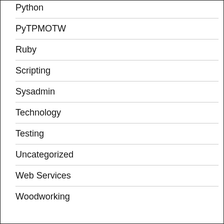Python
PyTPMOTW
Ruby
Scripting
Sysadmin
Technology
Testing
Uncategorized
Web Services
Woodworking